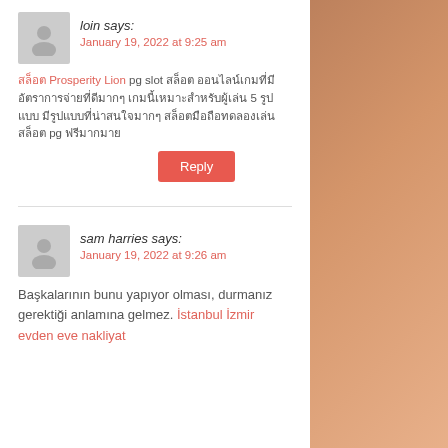loin says: January 19, 2022 at 9:25 am
สล็อต Prosperity Lion pg slot สล็อต ออนไลน์เกมที่มีอัตราการจ่ายที่ดีมากๆ เกมนี้เหมาะสำหรับผู้เล่น 5 รูปแบบ มีรูปแบบที่น่าสนใจมากๆ สล็อตมือถือทดลองเล่นสล็อต pg ฟรีมากมาย
Reply
sam harries says: January 19, 2022 at 9:26 am
Başkalarının bunu yapıyor olması, durmanız gerektiği anlamına gelmez. İstanbul İzmir evden eve nakliyat